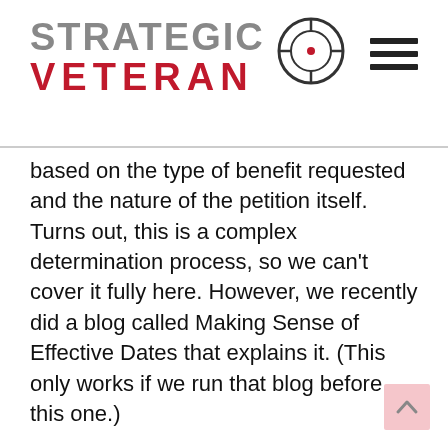STRATEGIC VETERAN
based on the type of benefit requested and the nature of the petition itself. Turns out, this is a complex determination process, so we can't cover it fully here. However, we recently did a blog called Making Sense of Effective Dates that explains it. (This only works if we run that blog before this one.)
Imagine you submitted your application for a Direct Service-Connected disability on January 2, and the VA receives it on January 5. In this illustration, the VA approves the claim on January 15. You would start receiving your